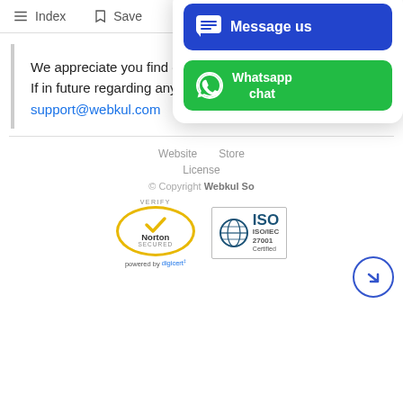Index  Save
We appreciate you find our user guide helpful. If in future regarding any issue or query, kindly email us at support@webkul.com
Website   Store   License   © Copyright Webkul So...
[Figure (screenshot): Message us and Whatsapp chat popup buttons overlay]
[Figure (logo): Norton Secured badge powered by digicert]
[Figure (logo): ISO/IEC 27001 Certified badge]